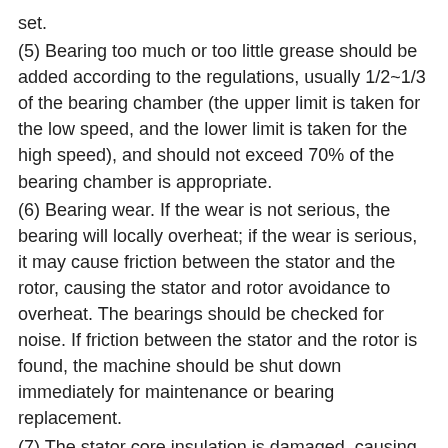set.
(5) Bearing too much or too little grease should be added according to the regulations, usually 1/2~1/3 of the bearing chamber (the upper limit is taken for the low speed, and the lower limit is taken for the high speed), and should not exceed 70% of the bearing chamber is appropriate.
(6) Bearing wear. If the wear is not serious, the bearing will locally overheat; if the wear is serious, it may cause friction between the stator and the rotor, causing the stator and rotor avoidance to overheat. The bearings should be checked for noise. If friction between the stator and the rotor is found, the machine should be shut down immediately for maintenance or bearing replacement.
(7) The stator core insulation is damaged, causing a short circuit between the sheets, causing the local eddy current loss of the core to increase and heating. In severe cases, the stator windings will be damaged. It should be shut down immediately for maintenance.
(8) The parallel wires of the stator winding are broken